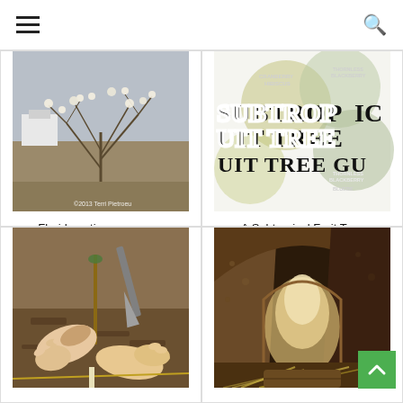Navigation header with hamburger menu and search icon
[Figure (photo): A Florida native pawpaw shrub with white blossoms in a field, copyright 2013 Terri Pietroeu]
Florida native pawpaws: an interview with Terri Pietroburgo, Pt. I
[Figure (illustration): A book or guide cover for 'A Subtropical Fruit Tree Guide' with decorative typography and circles mentioning Cranberry Hibiscus, Thornless Blackberry, and Blueberry]
A Subtropical Fruit Tree Guild
[Figure (photo): Hands planting or tending to a young seedling/sapling in mulched soil with a gardening trowel]
[Figure (photo): Interior of an earthen or cob structure looking toward a small doorway with light streaming in and straw on the floor]